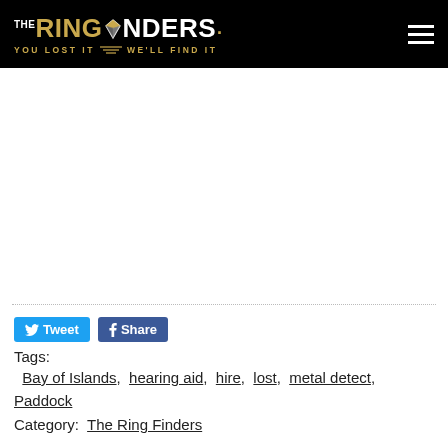THE RINGFINDERS. YOU LOST IT WE'LL FIND IT
Tweet  Share
Tags:
  Bay of Islands,  hearing aid,  hire,  lost,  metal detect,  Paddock
Category:  The Ring Finders